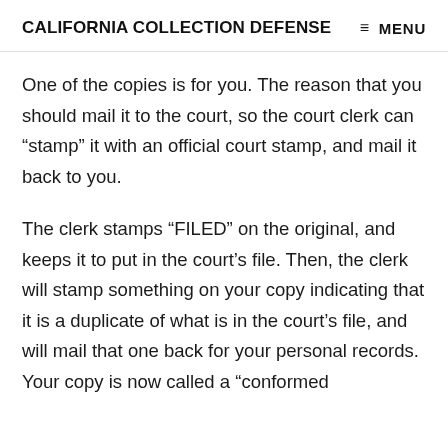CALIFORNIA COLLECTION DEFENSE  ≡ MENU
One of the copies is for you. The reason that you should mail it to the court, so the court clerk can “stamp” it with an official court stamp, and mail it back to you.
The clerk stamps “FILED” on the original, and keeps it to put in the court’s file. Then, the clerk will stamp something on your copy indicating that it is a duplicate of what is in the court’s file, and will mail that one back for your personal records. Your copy is now called a “conformed